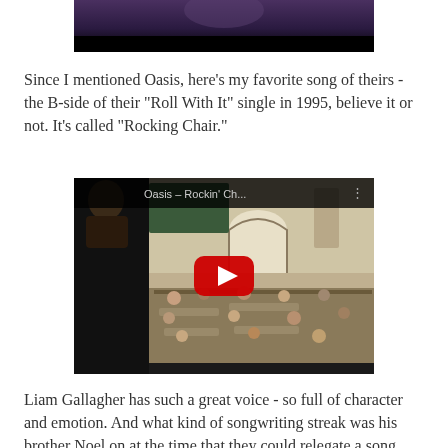[Figure (photo): Top portion of an image with dark purple/blue hues, cropped, with a black bar at bottom]
Since I mentioned Oasis, here's my favorite song of theirs - the B-side of their "Roll With It" single in 1995, believe it or not. It's called "Rocking Chair."
[Figure (screenshot): YouTube video embed showing 'Oasis – Rockin' Ch...' with a thumbnail of people in a classroom scene and a red play button overlay]
Liam Gallagher has such a great voice - so full of character and emotion. And what kind of songwriting streak was his brother Noel on at the time that they could relegate a song